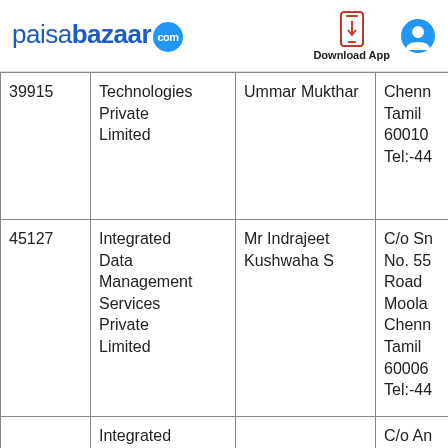paisabazaar.com — Download App
| ID | Company | Contact | Address |
| --- | --- | --- | --- |
| 39915 | Technologies Private Limited | Ummar Mukthar | Chenn Tamil 60010 Tel:-44 |
| 45127 | Integrated Data Management Services Private Limited | Mr Indrajeet Kushwaha S | C/o Sn No. 55 Road Moola Chenn Tamil 60006 Tel:-44 |
|  | Integrated Data |  | C/o An 9/6 Gs |